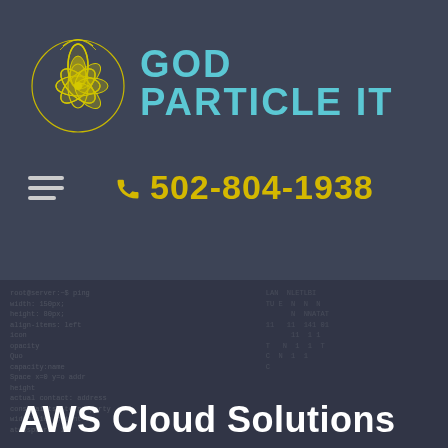[Figure (logo): God Particle IT logo with stylized yellow flower/atom symbol and cyan brand name text]
☎ 502-804-1938
AWS Cloud Solutions
[Figure (photo): Dark background with overlaid code/terminal text and cloud imagery]